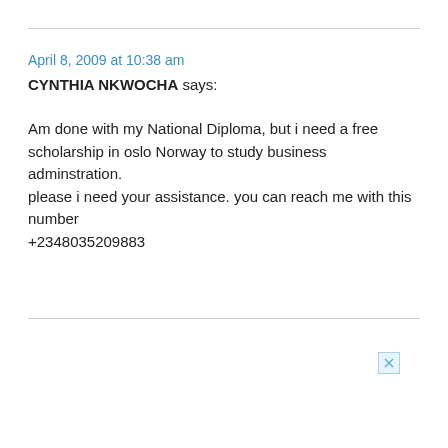April 8, 2009 at 10:38 am
CYNTHIA NKWOCHA says:
Am done with my National Diploma, but i need a free scholarship in oslo Norway to study business adminstration.
please i need your assistance. you can reach me with this number
+2348035209883
[Figure (other): Small close/dismiss button with an X icon in a light blue square]